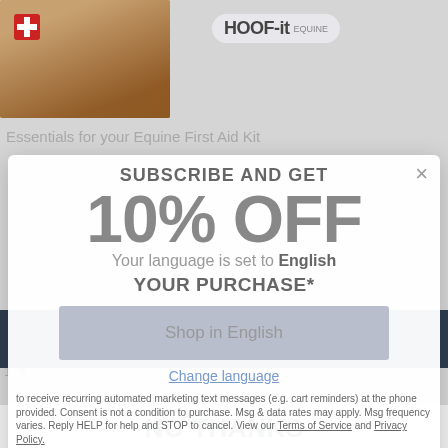[Figure (screenshot): Horse wearing a blanket, website background partially visible]
Essentials for your Equine First Aid Kit
SUBSCRIBE AND GET
10% OFF
Your language is set to English
YOUR PURCHASE*
Shop in English
Change language
to receive recurring automated marketing text messages (e.g. cart reminders) at the phone provided. Consent is not a condition to purchase. Msg & data rates may apply. Msg frequency varies. Reply HELP for help and STOP to cancel. View our Terms of Service and Privacy Policy.
our website.
Privacy Policy
Sign Up
Got it!
NO THANKS